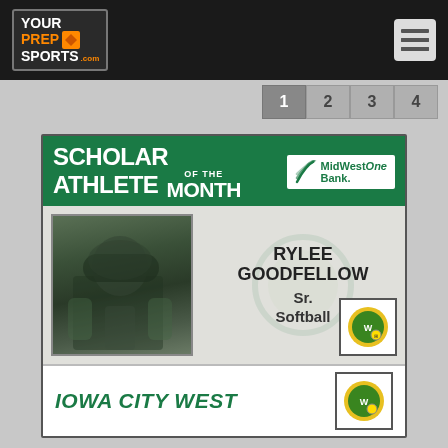[Figure (logo): YourPrepSports.com logo in header bar]
[Figure (infographic): Scholar Athlete of the Month card for Rylee Goodfellow, Sr., Softball, Iowa City West. Sponsored by MidWestOne Bank.]